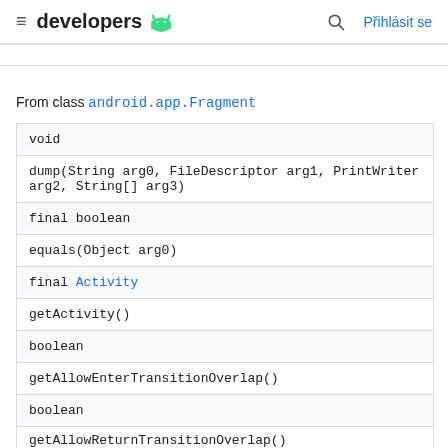developers  Přihlásit se
From class android.app.Fragment
| void |
| dump(String arg0, FileDescriptor arg1, PrintWriter arg2, String[] arg3) |
| final boolean |
| equals(Object arg0) |
| final Activity |
| getActivity() |
| boolean |
| getAllowEnterTransitionOverlap() |
| boolean |
| getAllowReturnTransitionOverlap() |